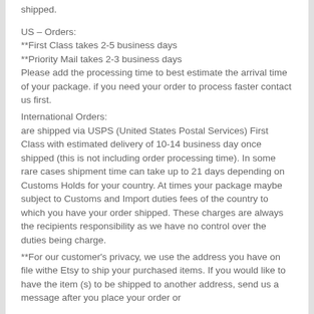shipped.
US – Orders:
**First Class takes 2-5 business days
**Priority Mail takes 2-3 business days
Please add the processing time to best estimate the arrival time of your package. if you need your order to process faster contact us first.
International Orders:
are shipped via USPS (United States Postal Services) First Class with estimated delivery of 10-14 business day once shipped (this is not including order processing time). In some rare cases shipment time can take up to 21 days depending on Customs Holds for your country. At times your package maybe subject to Customs and Import duties fees of the country to which you have your order shipped. These charges are always the recipients responsibility as we have no control over the duties being charge.
**For our customer's privacy, we use the address you have on file withe Etsy to ship your purchased items. If you would like to have the item (s) to be shipped to another address, send us a message after you place your order or